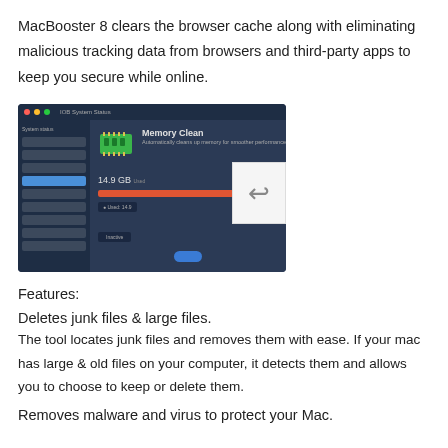MacBooster 8 clears the browser cache along with eliminating malicious tracking data from browsers and third-party apps to keep you secure while online.
[Figure (screenshot): MacBooster 8 application screenshot showing Memory Clean panel with 14.9 GB used progress bar and a sidebar with navigation items.]
Features:
Deletes junk files & large files.
The tool locates junk files and removes them with ease. If your mac has large & old files on your computer, it detects them and allows you to choose to keep or delete them.
Removes malware and virus to protect your Mac.